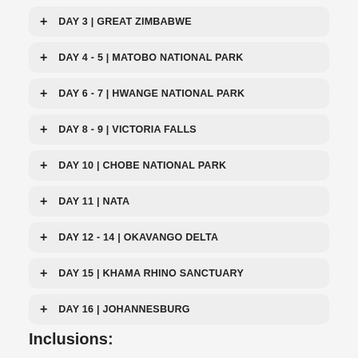+ DAY 3 | GREAT ZIMBABWE
+ DAY 4 - 5 | MATOBO NATIONAL PARK
+ DAY 6 - 7 | HWANGE NATIONAL PARK
+ DAY 8 - 9 | VICTORIA FALLS
+ DAY 10 | CHOBE NATIONAL PARK
+ DAY 11 | NATA
+ DAY 12 - 14 | OKAVANGO DELTA
+ DAY 15 | KHAMA RHINO SANCTUARY
+ DAY 16 | JOHANNESBURG
Inclusions: